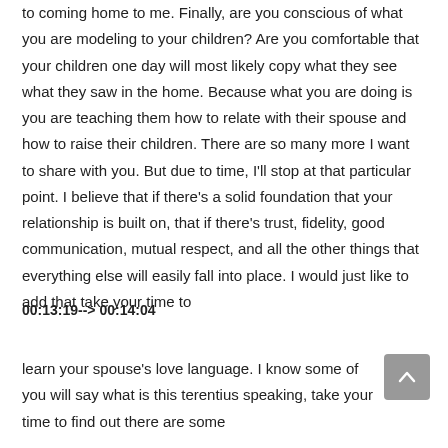to coming home to me. Finally, are you conscious of what you are modeling to your children? Are you comfortable that your children one day will most likely copy what they see what they saw in the home. Because what you are doing is you are teaching them how to relate with their spouse and how to raise their children. There are so many more I want to share with you. But due to time, I'll stop at that particular point. I believe that if there's a solid foundation that your relationship is built on, that if there's trust, fidelity, good communication, mutual respect, and all the other things that everything else will easily fall into place. I would just like to add that take your time to
00:13:19--> 00:14:04
learn your spouse's love language. I know some of you will say what is this terentius speaking, take your time to find out there are some